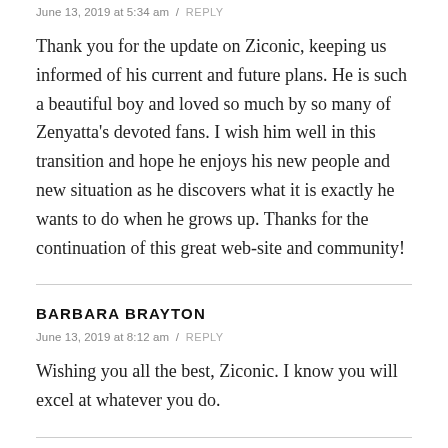June 13, 2019 at 5:34 am / REPLY
Thank you for the update on Ziconic, keeping us informed of his current and future plans. He is such a beautiful boy and loved so much by so many of Zenyatta’s devoted fans. I wish him well in this transition and hope he enjoys his new people and new situation as he discovers what it is exactly he wants to do when he grows up. Thanks for the continuation of this great web-site and community!
BARBARA BRAYTON
June 13, 2019 at 8:12 am / REPLY
Wishing you all the best, Ziconic. I know you will excel at whatever you do.